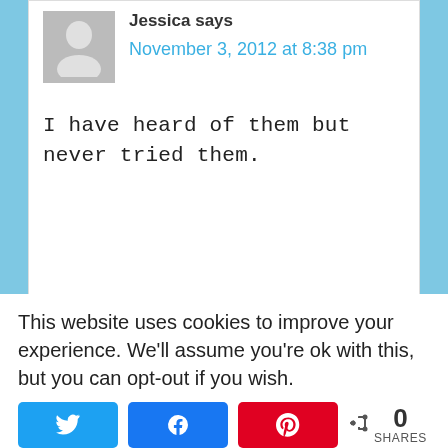Jessica says
November 3, 2012 at 8:38 pm
I have heard of them but never tried them.
This website uses cookies to improve your experience. We'll assume you're ok with this, but you can opt-out if you wish.
0 SHARES